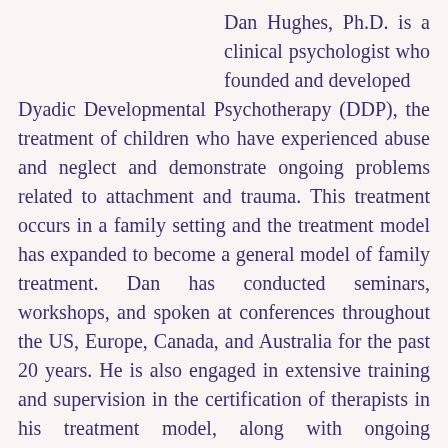Dan Hughes, Ph.D. is a clinical psychologist who founded and developed Dyadic Developmental Psychotherapy (DDP), the treatment of children who have experienced abuse and neglect and demonstrate ongoing problems related to attachment and trauma. This treatment occurs in a family setting and the treatment model has expanded to become a general model of family treatment. Dan has conducted seminars, workshops, and spoken at conferences throughout the US, Europe, Canada, and Australia for the past 20 years. He is also engaged in extensive training and supervision in the certification of therapists in his treatment model, along with ongoing consultation to various agencies and professionals. He is the founder of DDPI a training Institute which is responsible for the certification of